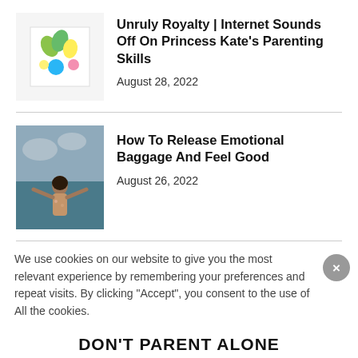[Figure (illustration): Thumbnail image with colorful shapes on sticky notes - green, yellow, blue circles and shapes on white paper]
Unruly Royalty | Internet Sounds Off On Princess Kate’s Parenting Skills
August 28, 2022
[Figure (photo): A woman with arms outstretched standing in front of ocean/sky background wearing a floral outfit]
How To Release Emotional Baggage And Feel Good
August 26, 2022
We use cookies on our website to give you the most relevant experience by remembering your preferences and repeat visits. By clicking “Accept”, you consent to the use of All the cookies.
DON’T PARENT ALONE
JOIN NOW